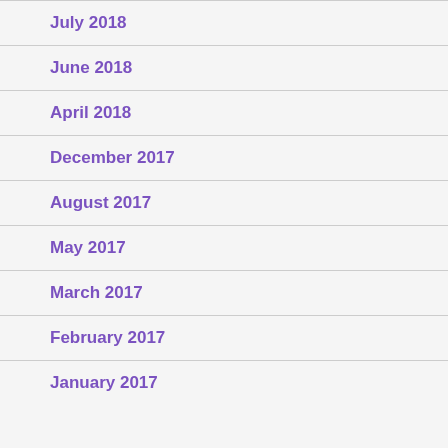July 2018
June 2018
April 2018
December 2017
August 2017
May 2017
March 2017
February 2017
January 2017